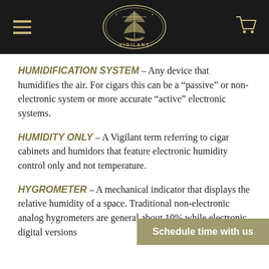VIGILANT (logo with hamburger menu and cart icon)
HUMIDIFICATION SYSTEM – Any device that humidifies the air. For cigars this can be a “passive” or non-electronic system or more accurate “active” electronic systems.
HUMIDITY ONLY – A Vigilant term referring to cigar cabinets and humidors that feature electronic humidity control only and not temperature.
HYGROMETER – A mechanical indicator that displays the relative humidity of a space. Traditional non-electronic analog hygrometers are ge... about 10% while electronic digital versions
Schedule time with us